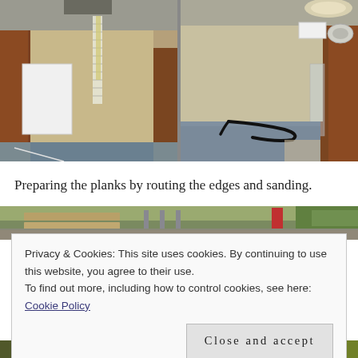[Figure (photo): Two side-by-side interior photos of a boat hull being prepared, showing the bare fiberglass/wood interior from different angles. Left photo shows a white panel against the hull wall with measuring tape. Right photo shows the interior from another angle with electrical cables on the floor.]
Preparing the planks by routing the edges and sanding.
[Figure (photo): Partial photo strip at top of cookie banner area showing an outdoor scene with wood planks and garden area visible.]
Privacy & Cookies: This site uses cookies. By continuing to use this website, you agree to their use.
To find out more, including how to control cookies, see here: Cookie Policy
Close and accept
[Figure (photo): Bottom strip of a photo showing an outdoor workshop or garden scene.]